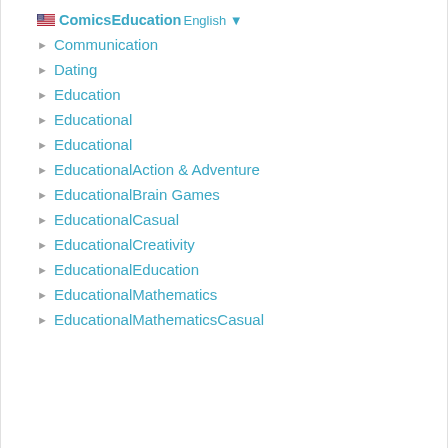ComicsEducation English
Communication
Dating
Education
Educational
Educational
EducationalAction & Adventure
EducationalBrain Games
EducationalCasual
EducationalCreativity
EducationalEducation
EducationalMathematics
EducationalMathematicsCasual